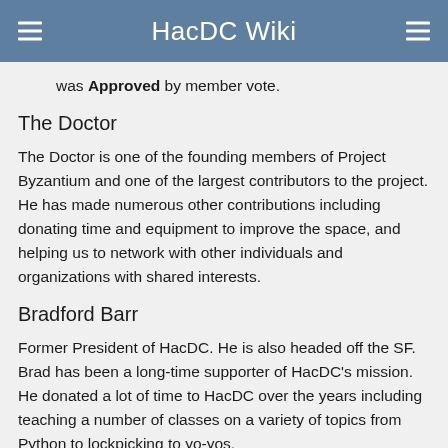HacDC Wiki
was Approved by member vote.
The Doctor
The Doctor is one of the founding members of Project Byzantium and one of the largest contributors to the project. He has made numerous other contributions including donating time and equipment to improve the space, and helping us to network with other individuals and organizations with shared interests.
Bradford Barr
Former President of HacDC. He is also headed off the SF. Brad has been a long-time supporter of HacDC's mission. He donated a lot of time to HacDC over the years including teaching a number of classes on a variety of topics from Python to lockpicking to yo-yos.